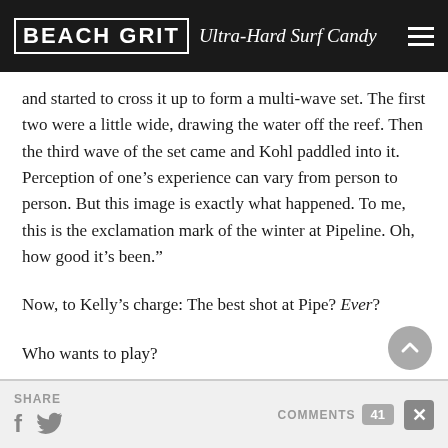BEACH GRIT Ultra-Hard Surf Candy
and started to cross it up to form a multi-wave set. The first two were a little wide, drawing the water off the reef. Then the third wave of the set came and Kohl paddled into it. Perception of one’s experience can vary from person to person. But this image is exactly what happened. To me, this is the exclamation mark of the winter at Pipeline. Oh, how good it’s been.”
Now, to Kelly’s charge: The best shot at Pipe? Ever?
Who wants to play?
SHARE  COMMENTS 41